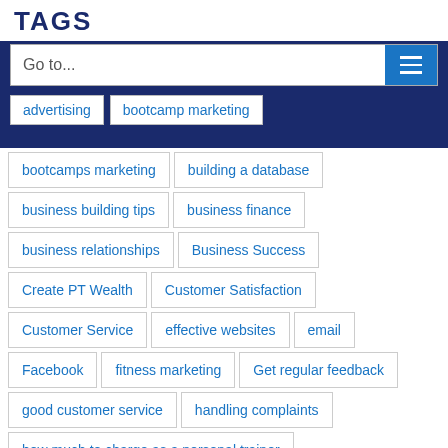TAGS
Go to...
advertising
bootcamp marketing
bootcamps marketing
building a database
business building tips
business finance
business relationships
Business Success
Create PT Wealth
Customer Satisfaction
Customer Service
effective websites
email
Facebook
fitness marketing
Get regular feedback
good customer service
handling complaints
how much to charge as a personal trainer
How to fix mistakes
how to get clients
how to get more clients
how to sell clients